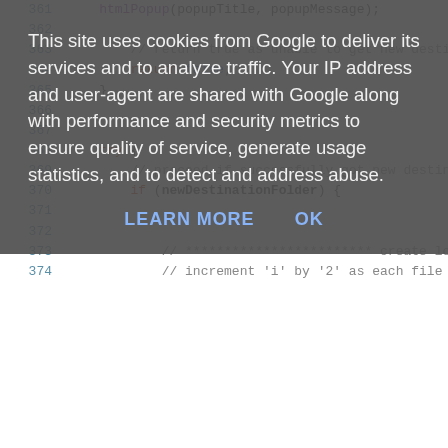[Figure (screenshot): Code editor view showing lines 361-374 of source code with syntax highlighting. Line numbers in blue on the left, code with red and blue keywords.]
This site uses cookies from Google to deliver its services and to analyze traffic. Your IP address and user-agent are shared with Google along with performance and security metrics to ensure quality of service, generate usage statistics, and to detect and address abuse.
LEARN MORE   OK